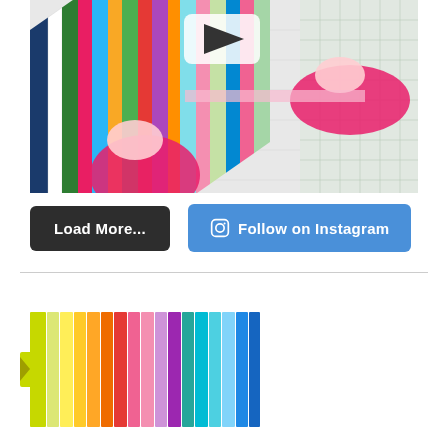[Figure (photo): Overhead photo of a person in a pink sweater arranging colorful diagonal fabric strips / quilt pieces on a cutting mat. A play button overlay is visible in the top center.]
Load More...
Follow on Instagram
[Figure (photo): Photo of rainbow-colored fabric strips or paper strips arranged in a gradient rainbow order, laying flat on a white surface.]